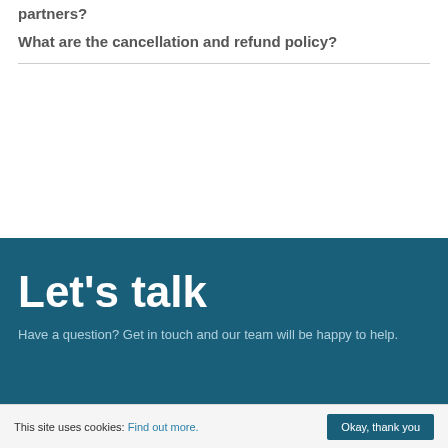partners?
What are the cancellation and refund policy?
Let's talk
Have a question? Get in touch and our team will be happy to help.
This site uses cookies: Find out more. Okay, thank you